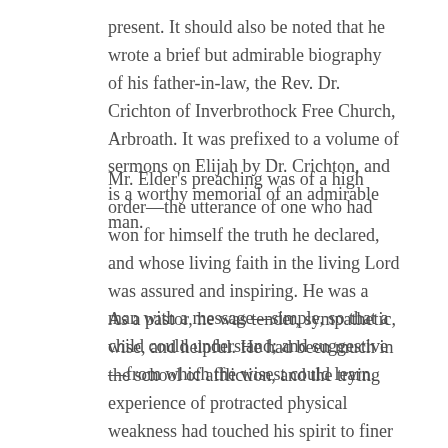present. It should also be noted that he wrote a brief but admirable biography of his father-in-law, the Rev. Dr. Crichton of Inverbrothock Free Church, Arbroath. It was prefixed to a volume of sermons on Elijah by Dr. Crichton, and is a worthy memorial of an admirable man.
Mr. Elder's preaching was of a high order—the utterance of one who had won for himself the truth he declared, and whose living faith in the living Lord was assured and inspiring. He was a man with a message—simple, so that a child could understand; and suggestive—from which the wisest could learn.
As a pastor, he was tender, sympathetic, wise, and helpful. He had been much in the school of affliction, and the trying experience of protracted physical weakness had touched his spirit to finer issues. Grace, natural disposition, and the discipline of life had made him a Barnabas, a son of consolation.